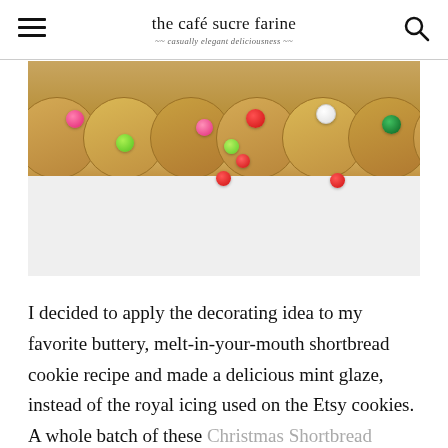the café sucre farine — casually elegant deliciousness
[Figure (photo): Close-up photo of shortbread cookies along the top edge with colorful candy ball sprinkles (pink, light green, red, white, dark green) scattered on a light surface below.]
I decided to apply the decorating idea to my favorite buttery, melt-in-your-mouth shortbread cookie recipe and made a delicious mint glaze, instead of the royal icing used on the Etsy cookies. A whole batch of these Christmas Shortbread Cookies costs less than $3.00 (that's with ingredients priced on the high side). I think